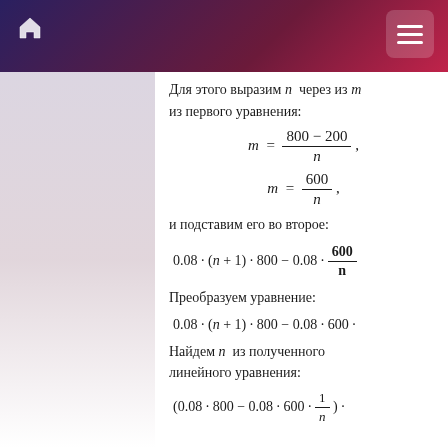Для этого выразим n через из m из первого уравнения:
и подставим его во второе:
Преобразуем уравнение:
Найдем n из полученного линейного уравнения: